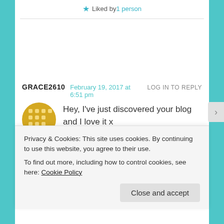★ Liked by 1 person
GRACE2610   February 19, 2017 at 6:51 pm   LOG IN TO REPLY
Hey, I've just discovered your blog and I love it x
http://www.paperclipsandpins.wordpress.co
Privacy & Cookies: This site uses cookies. By continuing to use this website, you agree to their use.
To find out more, including how to control cookies, see here: Cookie Policy
Close and accept